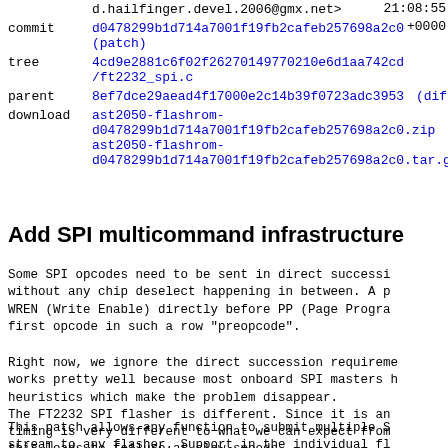|  | 21:08:55 | +0000 |
| commit | d0478299b1d714a7001f19fb2cafeb257698a2c0
(patch) |  |
| tree | 4cd9e2881c6f02f26270149770210e6d1aa742cd
/ft2232_spi.c |  |
| parent | 8ef7dce29aead4f17000e2c14b39f0723adc3953 | (diff) |
| download | ast2050-flashrom-d0478299b1d714a7001f19fb2cafeb257698a2c0.zip
ast2050-flashrom-d0478299b1d714a7001f19fb2cafeb257698a2c0.tar.gz |  |
Add SPI multicommand infrastructure
Some SPI opcodes need to be sent in direct succession without any chip deselect happening in between. A p WREN (Write Enable) directly before PP (Page Progra first opcode in such a row "preopcode".
Right now, we ignore the direct succession requireme works pretty well because most onboard SPI masters heuristics which make the problem disappear.
The FT2232 SPI flasher is different. Since it is an timing is very different to what we can expect from this leads to failure at slow speeds.
This patch allows any function to submit multiple S stream to any flasher. Support in the individual fl implemented yet, so there is one generic function w command in the stream one by one to the command fun